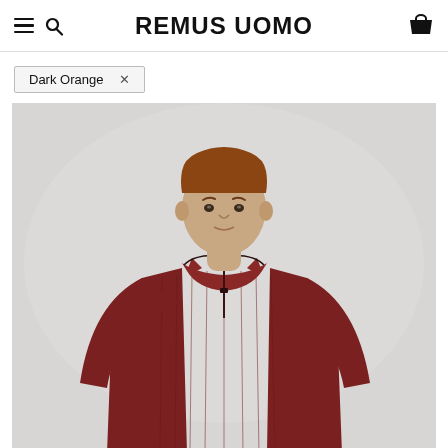REMUS UOMO
Dark Orange ×
[Figure (photo): Male model wearing a dark orange/burgundy long-sleeve zip-collar ribbed polo knit top, photographed against a light grey background, upper body shot.]